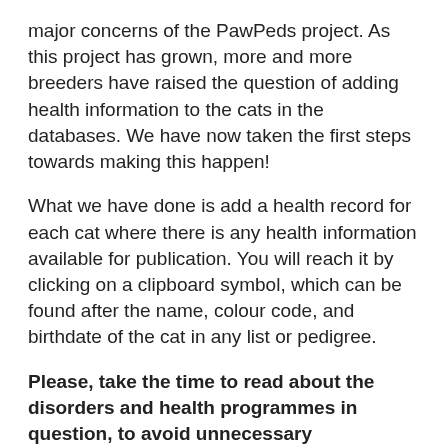major concerns of the PawPeds project. As this project has grown, more and more breeders have raised the question of adding health information to the cats in the databases. We have now taken the first steps towards making this happen!
What we have done is add a health record for each cat where there is any health information available for publication. You will reach it by clicking on a clipboard symbol, which can be found after the name, colour code, and birthdate of the cat in any list or pedigree.
Please, take the time to read about the disorders and health programmes in question, to avoid unnecessary misinterpretations!
We will only publish information from those health programmes that we have agreed to participate in. The reason for this is that it is very, very important to avoid errors, and that we need to know that the owners of the cats have agreed to have the information about their cats published. We also